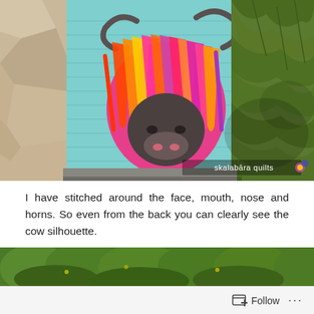[Figure (photo): A colorful highland cow artwork/quilt displayed outdoors on a teal/turquoise background, surrounded by green plants. The cow has multicolored hair in bright pink, orange, yellow, and purple. A watermark reads 'skalabara quilts' in the bottom right corner.]
I have stitched around the face, mouth, nose and horns. So even from the back you can clearly see the cow silhouette.
[Figure (photo): Partial view of green leafy plants/bushes, bottom portion of page.]
Follow ...